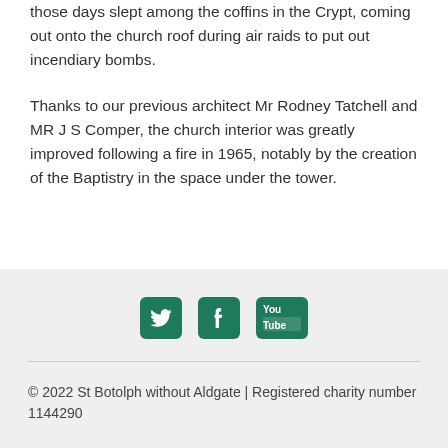those days slept among the coffins in the Crypt, coming out onto the church roof during air raids to put out incendiary bombs.
Thanks to our previous architect Mr Rodney Tatchell and MR J S Comper, the church interior was greatly improved following a fire in 1965, notably by the creation of the Baptistry in the space under the tower.
[Figure (infographic): Three social media icon buttons: Twitter (bird icon), Facebook (f icon), YouTube (You Tube logo), all in teal/green color on a light grey background]
© 2022 St Botolph without Aldgate | Registered charity number 1144290